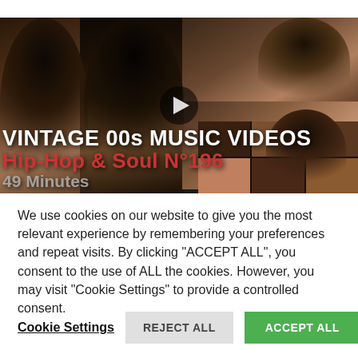[Figure (photo): YouTube thumbnail showing multiple artists' faces collaged together (hip-hop and R&B artists) with bold text overlay reading 'VINTAGE 00s MUSIC VIDEOS Hip-Hop & Soul N°196 49 Minutes']
We use cookies on our website to give you the most relevant experience by remembering your preferences and repeat visits. By clicking "ACCEPT ALL", you consent to the use of ALL the cookies. However, you may visit "Cookie Settings" to provide a controlled consent.
Cookie Settings | REJECT ALL | ACCEPT ALL